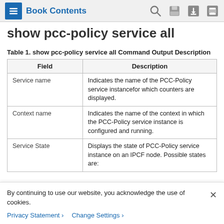Book Contents
show pcc-policy service all
Table 1. show pcc-policy service all Command Output Description
| Field | Description |
| --- | --- |
| Service name | Indicates the name of the PCC-Policy service instancefor which counters are displayed. |
| Context name | Indicates the name of the context in which the PCC-Policy service instance is configured and running. |
| Service State | Displays the state of PCC-Policy service instance on an IPCF node. Possible states are: |
By continuing to use our website, you acknowledge the use of cookies.
Privacy Statement  Change Settings